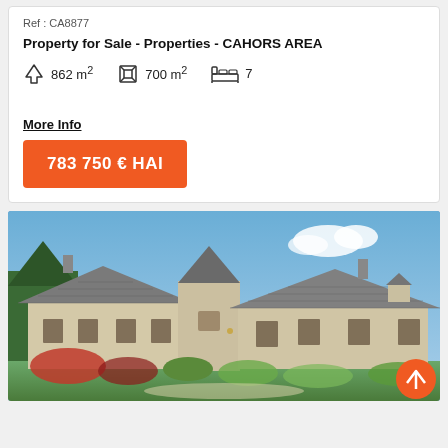Ref : CA8877
Property for Sale - Properties - CAHORS AREA
862 m²   700 m²   7
More Info
783 750 € HAI
[Figure (photo): Exterior photo of a large stone French country property with slate roof, stone tower, dormer windows, chimneys, brown shutters, and garden with colourful shrubs under blue sky.]